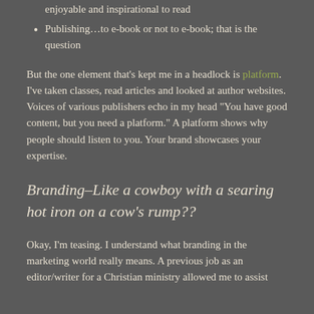enjoyable and inspirational to read
Publishing...to e-book or not to e-book; that is the question
But the one element that’s kept me in a headlock is platform. I’ve taken classes, read articles and looked at author websites. Voices of various publishers echo in my head “You have good content, but you need a platform.” A platform shows why people should listen to you. Your brand showcases your expertise.
Branding–Like a cowboy with a searing hot iron on a cow’s rump??
Okay, I’m teasing. I understand what branding in the marketing world really means. A previous job as an editor/writer for a Christian ministry allowed me to assist...